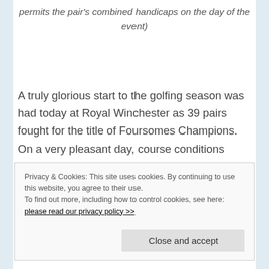permits the pair's combined handicaps on the day of the event)
A truly glorious start to the golfing season was had today at Royal Winchester as 39 pairs fought for the title of Foursomes Champions.  On a very pleasant day, course conditions were good but many could not cope with the greens with tales heard of balls running through them.
Privacy & Cookies: This site uses cookies. By continuing to use this website, you agree to their use.
To find out more, including how to control cookies, see here: please read our privacy policy >>
Close and accept